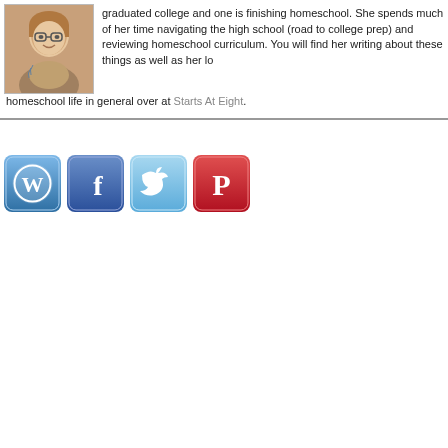[Figure (photo): Author profile photo - woman with glasses]
graduated college and one is finishing homeschool. She spends much of her time navigating the high school (road to college prep) and reviewing homeschool curriculum. You will find her writing about these things as well as her love of homeschool life in general over at Starts At Eight.
[Figure (screenshot): Social media icons: WordPress, Facebook, Twitter, Pinterest]